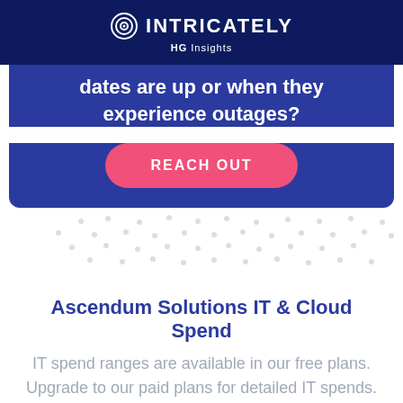INTRICATELY HG Insights
dates are up or when they experience outages?
[Figure (other): REACH OUT button — pink rounded rectangle call-to-action button]
[Figure (other): Decorative dot pattern on white background]
Ascendum Solutions IT & Cloud Spend
IT spend ranges are available in our free plans. Upgrade to our paid plans for detailed IT spends.